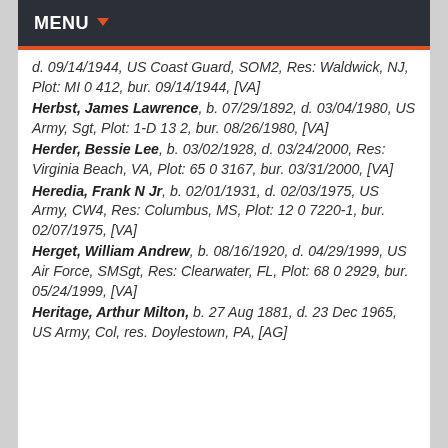MENU
d. 09/14/1944, US Coast Guard, SOM2, Res: Waldwick, NJ, Plot: MI 0 412, bur. 09/14/1944, [VA]
Herbst, James Lawrence, b. 07/29/1892, d. 03/04/1980, US Army, Sgt, Plot: 1-D 13 2, bur. 08/26/1980, [VA]
Herder, Bessie Lee, b. 03/02/1928, d. 03/24/2000, Res: Virginia Beach, VA, Plot: 65 0 3167, bur. 03/31/2000, [VA]
Heredia, Frank N Jr, b. 02/01/1931, d. 02/03/1975, US Army, CW4, Res: Columbus, MS, Plot: 12 0 7220-1, bur. 02/07/1975, [VA]
Herget, William Andrew, b. 08/16/1920, d. 04/29/1999, US Air Force, SMSgt, Res: Clearwater, FL, Plot: 68 0 2929, bur. 05/24/1999, [VA]
Heritage, Arthur Milton, b. 27 Aug 1881, d. 23 Dec 1965, US Army, Col, res. Doylestown, PA, [AG]